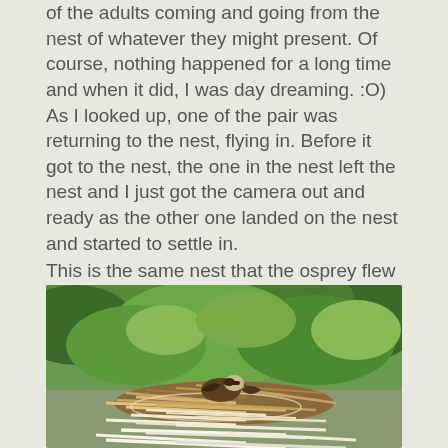of the adults coming and going from the nest of whatever they might present. Of course, nothing happened for a long time and when it did, I was day dreaming. :O) As I looked up, one of the pair was returning to the nest, flying in. Before it got to the nest, the one in the nest left the nest and I just got the camera out and ready as the other one landed on the nest and started to settle in.
This is the same nest that the osprey flew from to attack the young bald eagle a couple of days ago when I was here.
You can see this osprey in the nest below.
[Figure (photo): Photograph of an osprey in a large stick nest surrounded by green pine/cedar trees. The nest is made of large branches and twigs, and a bird can be seen settled in the nest.]